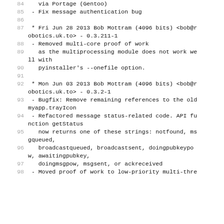84    via Portage (Gentoo)
85  - Fix message authentication bug
86
87  * Fri Jun 28 2013 Bob Mottram (4096 bits) <bob@robotics.uk.to> - 0.3.211-1
88  - Removed multi-core proof of work
89    as the multiprocessing module does not work well with
90    pyinstaller's --onefile option.
91
92  * Mon Jun 03 2013 Bob Mottram (4096 bits) <bob@robotics.uk.to> - 0.3.2-1
93  - Bugfix: Remove remaining references to the old myapp.trayIcon
94  - Refactored message status-related code. API function getStatus
95    now returns one of these strings: notfound, msgqueued,
96    broadcastqueued, broadcastsent, doingpubkeypow, awaitingpubkey,
97    doingmsgpow, msgsent, or ackreceived
98  - Moved proof of work to low-priority multi-thre